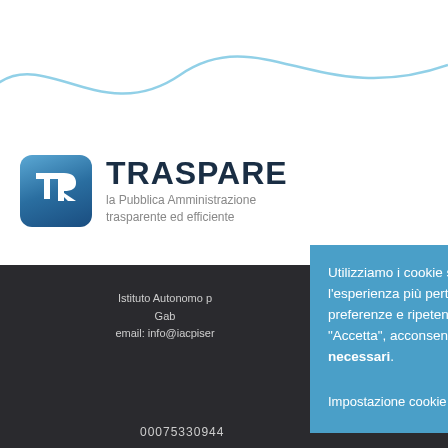[Figure (illustration): Decorative wavy blue line SVG graphic spanning the top of the page]
[Figure (logo): TRASPARE logo: blue rounded-square icon with TR letters, followed by bold text TRASPARE and subtitle 'la Pubblica Amministrazione trasparente ed efficiente']
Istituto Autonomo p[ase] Gab[...] email: info@iacpiser[...]
00075330944
Utilizziamo i cookie sul nostro sito Web per offrirti l'esperienza più pertinente ricordando le tue preferenze e ripetendo le visite. Facendo clic su "Accetta", acconsenti all'uso dei soli cookie necessari.
Impostazione cookie
ACCETTA